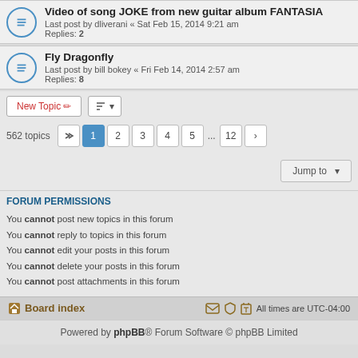Video of song JOKE from new guitar album FANTASIA — Last post by dliverani « Sat Feb 15, 2014 9:21 am — Replies: 2
Fly Dragonfly — Last post by bill bokey « Fri Feb 14, 2014 2:57 am — Replies: 8
New Topic | Sort | 562 topics | Page 1 2 3 4 5 ... 12 | Jump to
FORUM PERMISSIONS
You cannot post new topics in this forum
You cannot reply to topics in this forum
You cannot edit your posts in this forum
You cannot delete your posts in this forum
You cannot post attachments in this forum
Board index | All times are UTC-04:00
Powered by phpBB® Forum Software © phpBB Limited